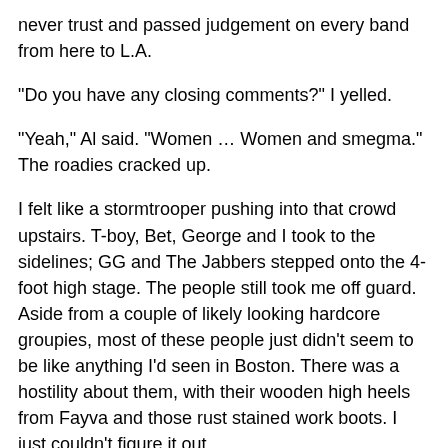never trust and passed judgement on every band from here to L.A.
"Do you have any closing comments?" I yelled.
"Yeah," Al said. "Women … Women and smegma." The roadies cracked up.
I felt like a stormtrooper pushing into that crowd upstairs. T-boy, Bet, George and I took to the sidelines; GG and The Jabbers stepped onto the 4-foot high stage. The people still took me off guard. Aside from a couple of likely looking hardcore groupies, most of these people just didn't seem to be like anything I'd seen in Boston. There was a hostility about them, with their wooden high heels from Fayva and those rust stained work boots. I just couldn't figure it out.
Then, screaming "Fuck You, you pussies!" the band went into the most useless convulsions I'd ever seen. GG was a horror-show. His face went blank, his mouth hung agape; he began crawling around on the floor like some parasitic reptile just out of its lightless cavern. I could hardly believe he was